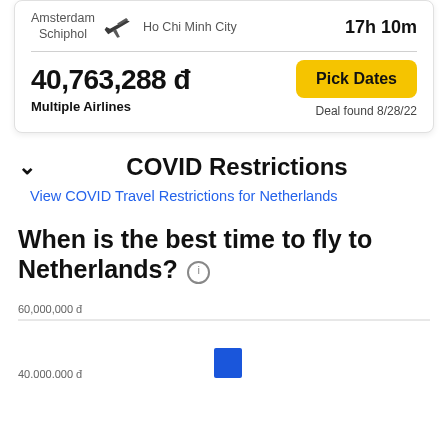Amsterdam Schiphol → Ho Chi Minh City   17h 10m
40,763,288 đ
Pick Dates
Multiple Airlines
Deal found 8/28/22
COVID Restrictions
View COVID Travel Restrictions for Netherlands
When is the best time to fly to Netherlands?
60,000,000 đ
[Figure (bar-chart): Bar chart showing flight prices by month to Netherlands; partial view with one blue bar visible near bottom]